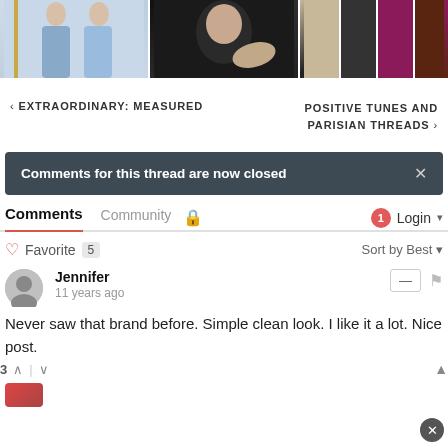[Figure (photo): Top image strip showing fashion photos: women in blue garments on left, close-up portrait in center, clothing items (jackets/coats) on right]
‹ EXTRAORDINARY: MEASURED
POSITIVE TUNES AND PARISIAN THREADS ›
Comments for this thread are now closed
Comments  Community  🔒   1  Login ▾
♡ Favorite  5     Sort by Best ▾
Jennifer
11 years ago
Never saw that brand before. Simple clean look. I like it a lot. Nice post.
3 ∧ | ∨